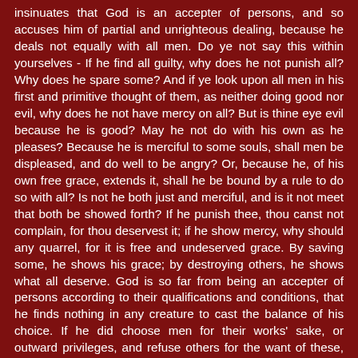insinuates that God is an accepter of persons, and so accuses him of partial and unrighteous dealing, because he deals not equally with all men. Do ye not say this within yourselves - If he find all guilty, why does he not punish all? Why does he spare some? And if ye look upon all men in his first and primitive thought of them, as neither doing good nor evil, why does he not have mercy on all? But is thine eye evil because he is good? May he not do with his own as he pleases? Because he is merciful to some souls, shall men be displeased, and do well to be angry? Or, because he, of his own free grace, extends it, shall he be bound by a rule to do so with all? Is not he both just and merciful, and is it not meet that both be showed forth? If he punish thee, thou canst not complain, for thou deservest it; if he show mercy, why should any quarrel, for it is free and undeserved grace. By saving some, he shows his grace; by destroying others, he shows what all deserve. God is so far from being an accepter of persons according to their qualifications and conditions, that he finds nothing in any creature to cast the balance of his choice. If he did choose men for their works' sake, or outward privileges, and refuse others for the want of these, then it might be charged on him; but he rather goes over all